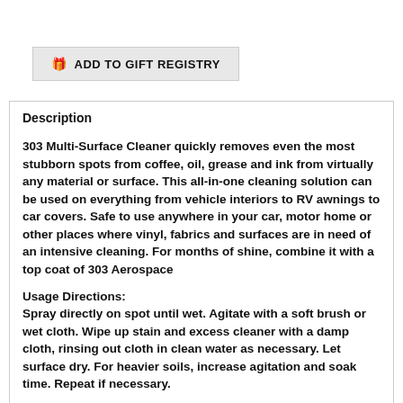ADD TO GIFT REGISTRY
Description
303 Multi-Surface Cleaner quickly removes even the most stubborn spots from coffee, oil, grease and ink from virtually any material or surface. This all-in-one cleaning solution can be used on everything from vehicle interiors to RV awnings to car covers. Safe to use anywhere in your car, motor home or other places where vinyl, fabrics and surfaces are in need of an intensive cleaning. For months of shine, combine it with a top coat of 303 Aerospace
Usage Directions:
Spray directly on spot until wet. Agitate with a soft brush or wet cloth. Wipe up stain and excess cleaner with a damp cloth, rinsing out cloth in clean water as necessary. Let surface dry. For heavier soils, increase agitation and soak time. Repeat if necessary.
For mildew and special cleaning problems on fabrics, contact the